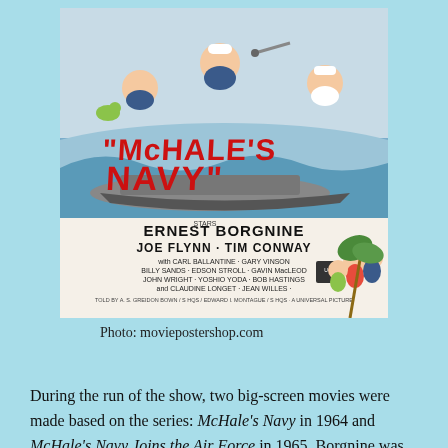[Figure (illustration): Movie poster for McHale's Navy (1964) featuring cartoon caricatures of sailors on a PT boat with waves, title in large red letters, and cast credits including Ernest Borgnine, Joe Flynn, Tim Conway, Carl Ballantine, Gary Vinson, Billy Sands, Edson Stroll, Gavin MacLeod, John Wright, Yoshio Yoda, Bob Hastings, Claudine Longet, Jean Willes, with Universal Pictures logo.]
Photo: moviepostershop.com
During the run of the show, two big-screen movies were made based on the series: McHale's Navy in 1964 and McHale's Navy Joins the Air Force in 1965. Borgnine was available for the second film due to the delay